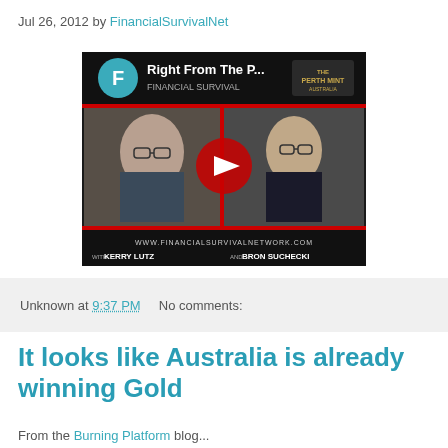Jul 26, 2012 by FinancialSurvivalNet
[Figure (screenshot): YouTube video thumbnail showing two men in suits with title 'Right From The P...' and Financial Survival Network branding. Features Kerry Lutz and Bron Suchecki with Perth Mint Australia logo. Red YouTube play button in center.]
Unknown at 9:37 PM    No comments:
It looks like Australia is already winning Gold
From the Burning Platform blog...